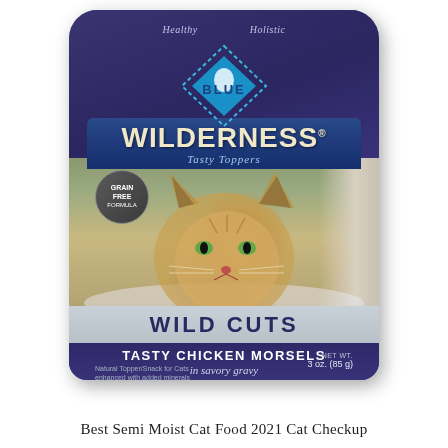[Figure (photo): Blue Wilderness Tasty Toppers Wild Cuts cat food pouch in dark purple/navy color, featuring a lynx/bobcat photo, with text: Healthy, Holistic, BLUE, WILDERNESS, Tasty Toppers, GRAIN FREE FORMULA badge, WILD CUTS, TASTY CHICKEN MORSELS in savory gravy, NET WT. 3 oz. (85 g), Natural Topper/Snack for Cats enhanced with added minerals]
Best Semi Moist Cat Food 2021 Cat Checkup